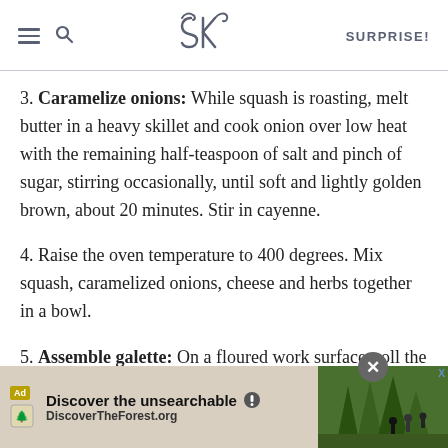SK SURPRISE!
3. Caramelize onions: While squash is roasting, melt butter in a heavy skillet and cook onion over low heat with the remaining half-teaspoon of salt and pinch of sugar, stirring occasionally, until soft and lightly golden brown, about 20 minutes. Stir in cayenne.
4. Raise the oven temperature to 400 degrees. Mix squash, caramelized onions, cheese and herbs together in a bowl.
5. Assemble galette: On a floured work surface, roll the dough out into a 12-inch round. Transfer to an ungreased baking sheet. Spread squash, onions, cheese [ad overlay] a 1 1/2 inc onion
[Figure (screenshot): Advertisement overlay at bottom of page: 'Discover the unsearchable' / DiscoverTheForest.org with forest photo and close button]